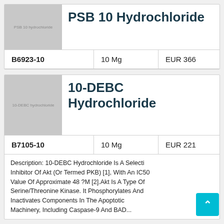PSB 10 Hydrochloride
| Code | Quantity | Price |
| --- | --- | --- |
| B6923-10 | 10 Mg | EUR 366 |
10-DEBC Hydrochloride
| Code | Quantity | Price |
| --- | --- | --- |
| B7105-10 | 10 Mg | EUR 221 |
Description: 10-DEBC Hydrochloride Is A Selective Inhibitor Of Akt (Or Termed PKB) [1], With An IC50 Value Of Approximate 48 ?M [2].Akt Is A Type Of Serine/Threonine Kinase. It Phosphorylates And Inactivates Components In The Apoptotic Machinery, Including Caspase-9 And BAD...